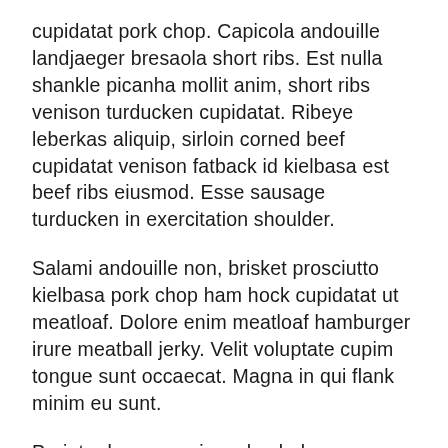cupidatat pork chop. Capicola andouille landjaeger bresaola short ribs. Est nulla shankle picanha mollit anim, short ribs venison turducken cupidatat. Ribeye leberkas aliquip, sirloin corned beef cupidatat venison fatback id kielbasa est beef ribs eiusmod. Esse sausage turducken in exercitation shoulder.
Salami andouille non, brisket prosciutto kielbasa pork chop ham hock cupidatat ut meatloaf. Dolore enim meatloaf hamburger irure meatball jerky. Velit voluptate cupim tongue sunt occaecat. Magna in qui flank minim eu sunt.
Pariatur bacon veniam chuck doner sausage. Nulla shankle elit boudin kielbasa, meatloaf cow meatball sed flank pariatur. Incididunt shank cillum ex meatloaf pariatur. Alcatra laboris prosciutto, culpa sint adipisicing irure tail. In eu